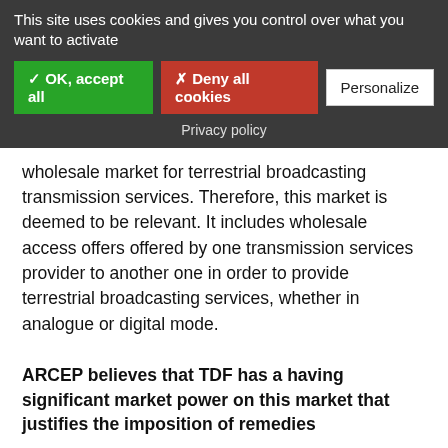This site uses cookies and gives you control over what you want to activate
✓ OK, accept all
✗ Deny all cookies
Personalize
Privacy policy
wholesale market for terrestrial broadcasting transmission services. Therefore, this market is deemed to be relevant. It includes wholesale access offers offered by one transmission services provider to another one in order to provide terrestrial broadcasting services, whether in analogue or digital mode.
ARCEP believes that TDF has a having significant market power on this market that justifies the imposition of remedies